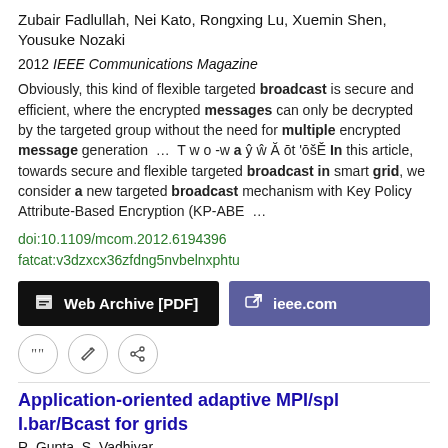Zubair Fadlullah, Nei Kato, Rongxing Lu, Xuemin Shen, Yousuke Nozaki
2012 IEEE Communications Magazine
Obviously, this kind of flexible targeted broadcast is secure and efficient, where the encrypted messages can only be decrypted by the targeted group without the need for multiple encrypted message generation ... Two-way â ŷ ŵ Ã ōt 'ōšĚ In this article, towards secure and flexible targeted broadcast in smart grid, we consider a new targeted broadcast mechanism with Key Policy Attribute-Based Encryption (KP-ABE ...
doi:10.1109/mcom.2012.6194396
fatcat:v3dzxcx36zfdng5nvbelnxphtu
Web Archive [PDF]
ieee.com
Application-oriented adaptive MPI/spl I.bar/Bcast for grids
R. Gupta, S. Vadhiyar
2006 Proceedings 20th IEEE International Parallel & Distributed Processing Symposium